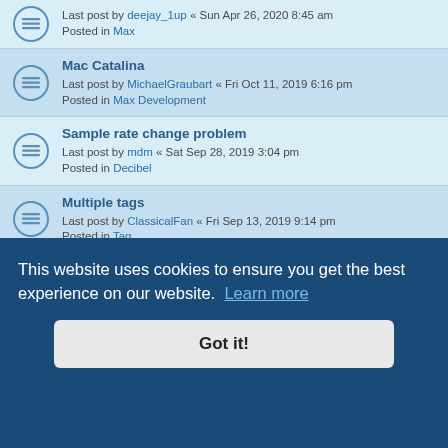Last post by deejay_1up « Sun Apr 26, 2020 8:45 am | Posted in Max
Mac Catalina | Last post by MichaelGraubart « Fri Oct 11, 2019 6:16 pm | Posted in Max Development
Sample rate change problem | Last post by mdm « Sat Sep 28, 2019 3:04 pm | Posted in Decibel
Multiple tags | Last post by ClassicalFan « Fri Sep 13, 2019 9:14 pm | Posted in Tag
Query Musicbrainz -- no data recevied | Last post by packzap « Mon Jul 29, 2019 5:04 pm | Posted in Max
Max will be no more with the macOS Catalina Update unless it gets updated for 64 bit | Last post by nicomedia « Sat Jun 08, 2019 1:49 pm
Last post by DreamBig « Wed Jan 30, 2019 7:00 pm | Posted in Decibel
This website uses cookies to ensure you get the best experience on our website. Learn more
Got it!